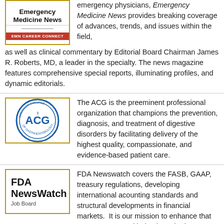[Figure (logo): Emergency Medicine News logo with EMN CAREER CONNECT banner]
emergency physicians, Emergency Medicine News provides breaking coverage of advances, trends, and issues within the field, as well as clinical commentary by Editorial Board Chairman James R. Roberts, MD, a leader in the specialty. The news magazine features comprehensive special reports, illuminating profiles, and dynamic editorials.
[Figure (logo): ACG (American College of Gastroenterology) circular logo]
The ACG is the preeminent professional organization that champions the prevention, diagnosis, and treatment of digestive disorders by facilitating delivery of the highest quality, compassionate, and evidence-based patient care.
[Figure (logo): FDA NewsWatch Job Board logo]
FDA Newswatch covers the FASB, GAAP, treasury regulations, developing international acounting standards and structural developments in financial markets.  It is our mission to enhance that news coverage with timely and relevant teleconferences with industry experts, and to provide employment opportunities to our readers.
[Figure (logo): National Association of Worksite Health logo (partial, green leaf visible)]
The National Association of Worksite Health